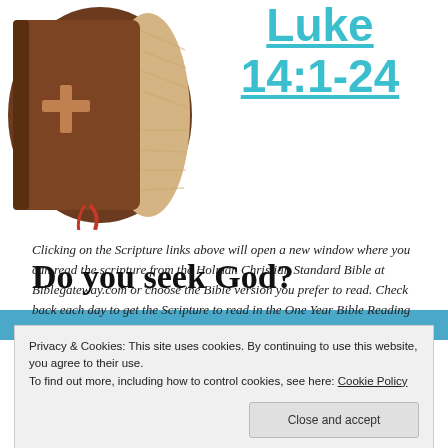[Figure (illustration): Illustration of a brown Bible with a red ribbon and a cross on the cover, partially cropped at top]
Luke 14:1-24
Clicking on the Scripture links above will open a new window where you can read the scripture from the Holman Christian Standard Bible at Biblegateway.com or choose the Bible version you prefer to read. Check back each day to get the Scripture to read in the One Year Bible Reading Plan.
Do you seek God?
Privacy & Cookies: This site uses cookies. By continuing to use this website, you agree to their use.
To find out more, including how to control cookies, see here: Cookie Policy
Close and accept